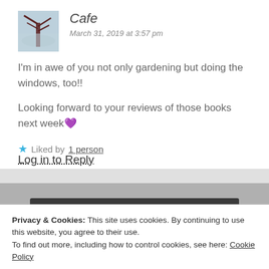Cafe
March 31, 2019 at 3:57 pm
I'm in awe of you not only gardening but doing the windows, too!!
Looking forward to your reviews of those books next week 💜
★ Liked by 1 person
Log in to Reply
Privacy & Cookies: This site uses cookies. By continuing to use this website, you agree to their use.
To find out more, including how to control cookies, see here: Cookie Policy
Close and accept